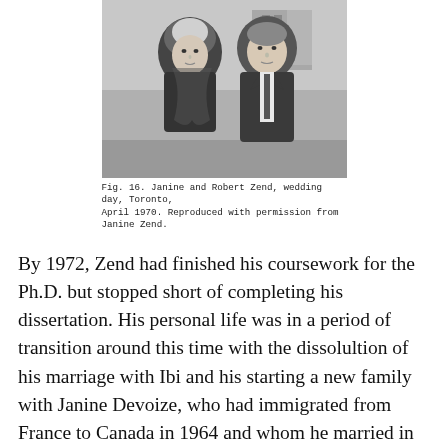[Figure (photo): Black and white photograph of Janine and Robert Zend on their wedding day in Toronto, April 1970. A woman wearing a headscarf stands next to a man in a suit and tie.]
Fig. 16. Janine and Robert Zend, wedding day, Toronto, April 1970. Reproduced with permission from Janine Zend.
By 1972, Zend had finished his coursework for the Ph.D. but stopped short of completing his dissertation. His personal life was in a period of transition around this time with the dissolultion of his marriage with Ibi and his starting a new family with Janine Devoize, who had immigrated from France to Canada in 1964 and whom he married in 1970 (fig. 16). For her part, after the divorce, Ibi married writer George Gabori, a fellow Hungarian survivor of a Nazi concentration camp, whom Zend had introduced to her. Gabori was also a survivor of Soviet labour camps and wrote a remarkable autobiographical account of his